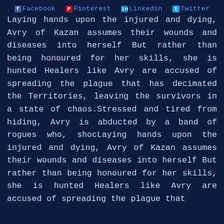Facebook Pinterest Linkedin Twitter
Laying hands upon the injured and dying, Avry of Kazan assumes their wounds and diseases into herself But rather than being honoured for her skills, she is hunted Healers like Avry are accused of spreading the plague that has decimated the Territories, leaving the survivors in a state of chaos.Stressed and tired from hiding, Avry is abducted by a band of rogues who, shocLaying hands upon the injured and dying, Avry of Kazan assumes their wounds and diseases into herself But rather than being honoured for her skills, she is hunted Healers like Avry are accused of spreading the plague that